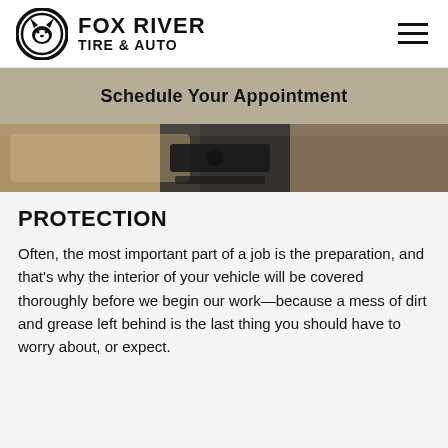Fox River Tire & Auto
Schedule Your Appointment
[Figure (photo): Car interior showing dashboard, center console, and beige leather seats]
PROTECTION
Often, the most important part of a job is the preparation, and that's why the interior of your vehicle will be covered thoroughly before we begin our work—because a mess of dirt and grease left behind is the last thing you should have to worry about, or expect.